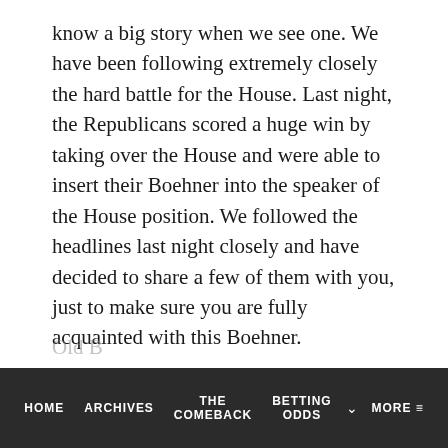know a big story when we see one.  We have been following extremely closely the hard battle for the House.  Last night, the Republicans scored a huge win by taking over the House and were able to insert their Boehner into the speaker of the House position.   We followed the headlines last night closely and have decided to share a few of them with you,  just to make sure you are fully acquainted with this Boehner.
-PLEASE CLICK ON EACH IMAGE “TO ENLARGE”-
HOME  ARCHIVES  THE COMEBACK  BETTING ODDS  MORE